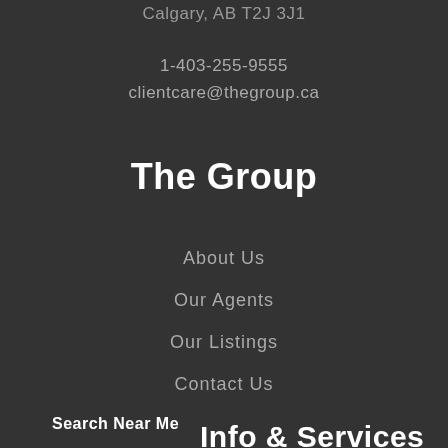Calgary, AB T2J 3J1
1-403-255-9555
clientcare@thegroup.ca
The Group
About Us
Our Agents
Our Listings
Contact Us
Search Near Me
Info & Services